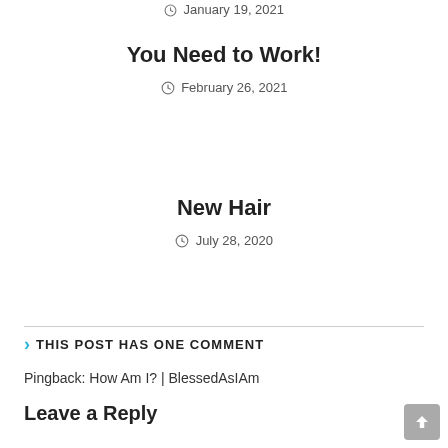January 19, 2021
You Need to Work!
February 26, 2021
New Hair
July 28, 2020
THIS POST HAS ONE COMMENT
Pingback: How Am I? | BlessedAsIAm
Leave a Reply